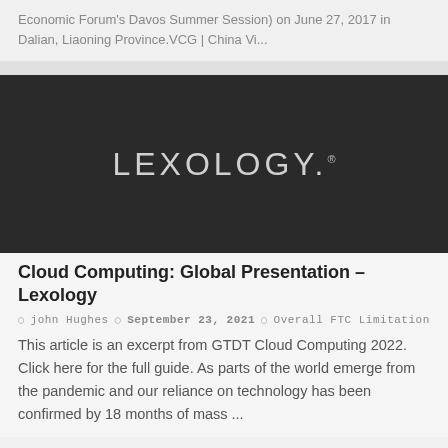Economic Forum's Davos Summer Session) on June 27, 2017 in Dalian, Liaoning Province.VCG | China Vi...
[Figure (logo): Lexology logo — white text 'LEXOLOGY.' on dark background]
Cloud Computing: Global Presentation – Lexology
john Hughes   September 23, 2021   Overall FTC Limitation
This article is an excerpt from GTDT Cloud Computing 2022. Click here for the full guide. As parts of the world emerge from the pandemic and our reliance on technology has been confirmed by 18 months of mass ...